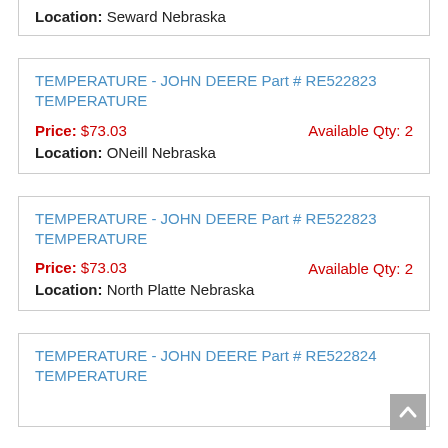Location: Seward Nebraska
TEMPERATURE - JOHN DEERE Part # RE522823 TEMPERATURE
Price: $73.03   Available Qty: 2
Location: ONeill Nebraska
TEMPERATURE - JOHN DEERE Part # RE522823 TEMPERATURE
Price: $73.03   Available Qty: 2
Location: North Platte Nebraska
TEMPERATURE - JOHN DEERE Part # RE522824 TEMPERATURE